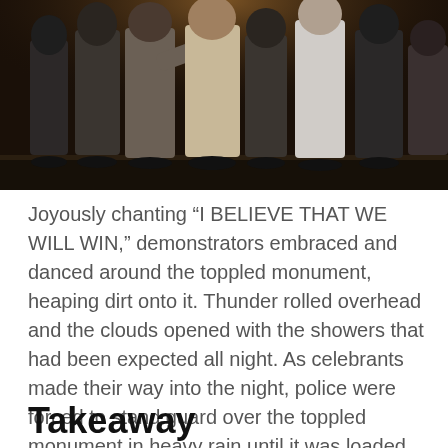[Figure (photo): Crowd of people standing, photographed from behind at night, dark background]
Joyously chanting “I BELIEVE THAT WE WILL WIN,” demonstrators embraced and danced around the toppled monument, heaping dirt onto it. Thunder rolled overhead and the clouds opened with the showers that had been expected all night. As celebrants made their way into the night, police were forced to stand guard over the toppled monument in heavy rain until it was loaded into a dump truck around midnight.
Takeaway